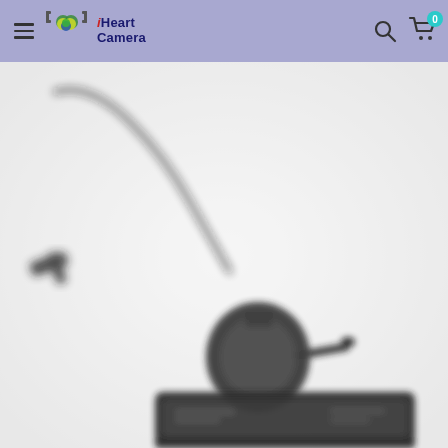iHeart Camera
[Figure (photo): A wireless office headset with a flexible boom arm microphone, shown resting on a charging base/dock. The headset is black, with a single ear cup and an adjustable headband. The charging station is a flat, dark-colored rectangular unit. The image has a soft focus/blurred effect.]